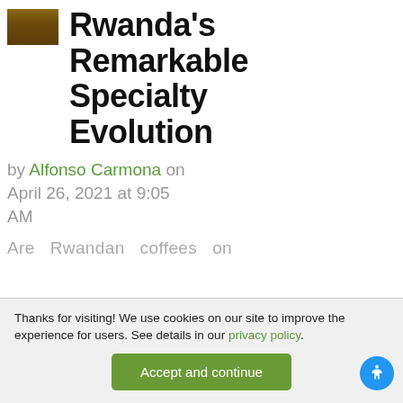[Figure (photo): Small thumbnail image of Rwanda coffee, brownish tones]
Rwanda's Remarkable Specialty Evolution
by Alfonso Carmona on April 26, 2021 at 9:05 AM
Are Rwandan coffees on
Thanks for visiting! We use cookies on our site to improve the experience for users. See details in our privacy policy.
Accept and continue